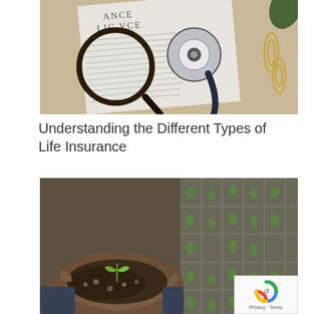[Figure (photo): Top-down photo showing an insurance policy document with printed text, a magnifying glass, a stethoscope, and two gold paper clips on a wooden surface.]
Understanding the Different Types of Life Insurance
[Figure (photo): Close-up photo of cupped hands holding dark soil with a small green seedling sprout, with seedling trays in the background.]